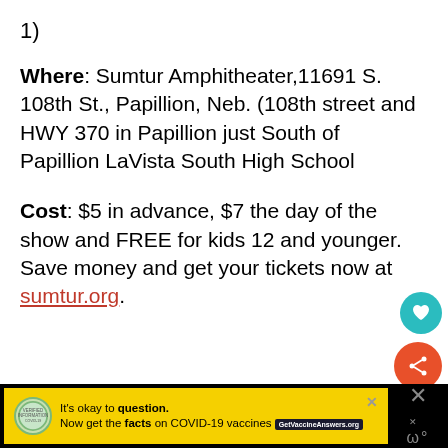1)
Where: Sumtur Amphitheater,11691 S. 108th St., Papillion, Neb. (108th street and HWY 370 in Papillion just South of  Papillion LaVista South High School
Cost: $5 in advance, $7 the day of the show and FREE for kids 12 and younger. Save money and get your tickets now at sumtur.org.
[Figure (screenshot): Social media interaction buttons: teal heart button and orange share button]
[Figure (screenshot): Related content thumbnail box showing 'The Family Show You'll...' with small photo]
[Figure (screenshot): Bottom advertisement bar: yellow background with COVID-19 vaccine information ad saying It's okay to question. Now get the facts on COVID-19 vaccines. GetVaccineAnswers.org]